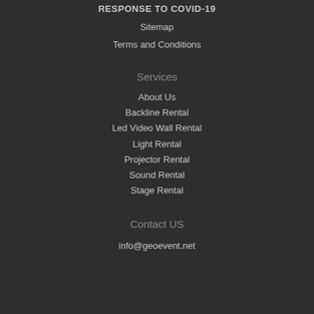RESPONSE TO COVID-19
Sitemap
Terms and Conditions
Services
About Us
Backline Rental
Led Video Wall Rental
Light Rental
Projector Rental
Sound Rental
Stage Rental
Contact US
info@geoevent.net